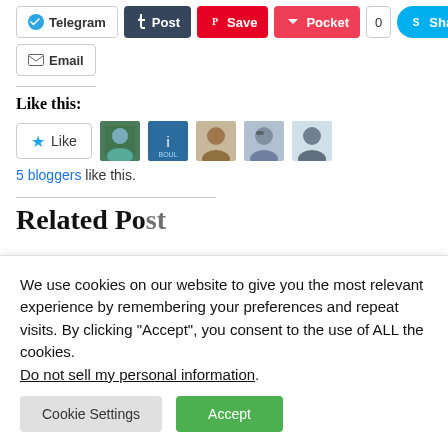[Figure (screenshot): Social share buttons row: Telegram, Post (Tumblr), Save (Pinterest), Pocket with count 0, Share (Skype)]
[Figure (screenshot): Email share button]
Like this:
[Figure (screenshot): Like button with star icon and 5 blogger avatar thumbnails]
5 bloggers like this.
Related Posts
We use cookies on our website to give you the most relevant experience by remembering your preferences and repeat visits. By clicking “Accept”, you consent to the use of ALL the cookies.
Do not sell my personal information.
[Figure (screenshot): Cookie Settings and Accept buttons]